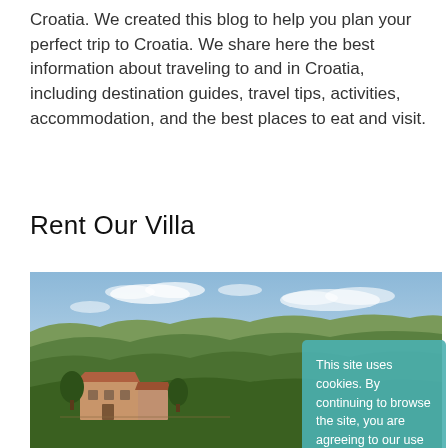Croatia. We created this blog to help you plan your perfect trip to Croatia. We share here the best information about traveling to and in Croatia, including destination guides, travel tips, activities, accommodation, and the best places to eat and visit.
Rent Our Villa
[Figure (photo): Aerial photo of a Croatian villa surrounded by lush green forest and rolling hills under a blue sky with light clouds. A terracotta-roofed farmhouse is visible in the foreground.]
This site uses cookies. By continuing to browse the site, you are agreeing to our use of cookies. I accept!